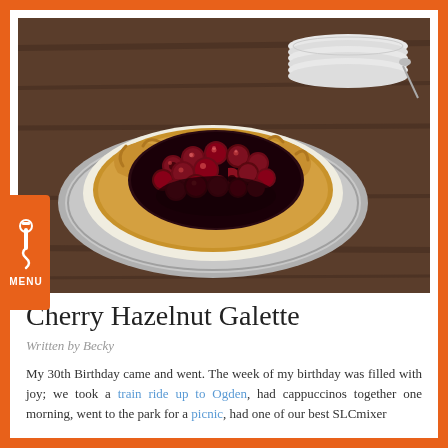[Figure (photo): A cherry hazelnut galette on a silver plate with parchment paper, surrounded by dark wood table and a stack of white plates in background]
Cherry Hazelnut Galette
Written by Becky
My 30th Birthday came and went. The week of my birthday was filled with joy; we took a train ride up to Ogden, had cappuccinos together one morning, went to the park for a picnic, had one of our best SLCmixer